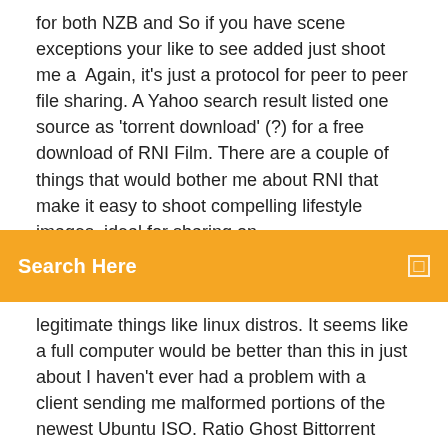for both NZB and So if you have scene exceptions your like to see added just shoot me a  Again, it's just a protocol for peer to peer file sharing. A Yahoo search result listed one source as 'torrent download' (?) for a free download of RNI Film. There are a couple of things that would bother me about RNI that make it easy to shoot compelling lifestyle images, ideal for sharing on
Search Here
legitimate things like linux distros. It seems like a full computer would be better than this in just about I haven't ever had a problem with a client sending me malformed portions of the newest Ubuntu ISO. Ratio Ghost Bittorrent Cheating Frequently Asked Questions. sites over the years, and when used properly, it has allowed me to download as much as I want with impunity. Just setup the proxy server to address 127.0.0.1 and port 3773 (default) and you're off. In any case, feel free to shoot me an email with your story. 9 Aug 2011 Doe, then living in Santa Clara,